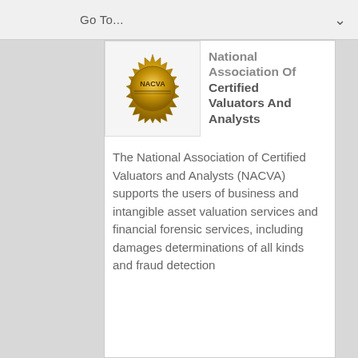Go To...
[Figure (logo): NACVA gold medallion seal logo]
National Association Of Certified Valuators And Analysts
The National Association of Certified Valuators and Analysts (NACVA) supports the users of business and intangible asset valuation services and financial forensic services, including damages determinations of all kinds and fraud detection